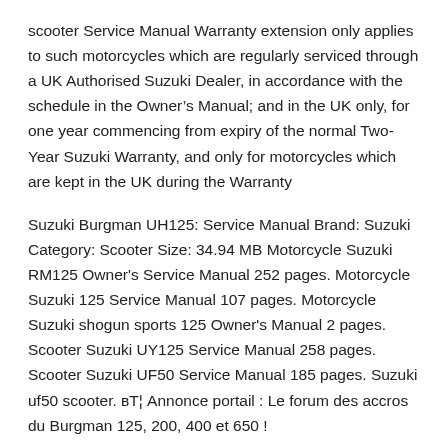scooter Service Manual Warranty extension only applies to such motorcycles which are regularly serviced through a UK Authorised Suzuki Dealer, in accordance with the schedule in the Owner's Manual; and in the UK only, for one year commencing from expiry of the normal Two-Year Suzuki Warranty, and only for motorcycles which are kept in the UK during the Warranty
Suzuki Burgman UH125: Service Manual Brand: Suzuki Category: Scooter Size: 34.94 MB Motorcycle Suzuki RM125 Owner's Service Manual 252 pages. Motorcycle Suzuki 125 Service Manual 107 pages. Motorcycle Suzuki shogun sports 125 Owner's Manual 2 pages. Scooter Suzuki UY125 Service Manual 258 pages. Scooter Suzuki UF50 Service Manual 185 pages. Suzuki uf50 scooter. в„ Annonce portail : Le forum des accros du Burgman 125, 200, 400 et 650 !